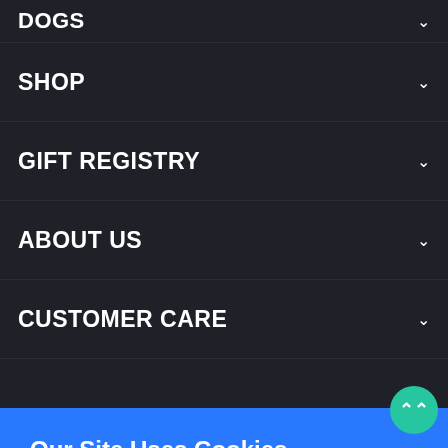DOGS (partial, top)
SHOP
GIFT REGISTRY
ABOUT US
CUSTOMER CARE
Our Site Uses Cookies
By clicking Agree, you agree to our terms of service ,  privacy policy  and cookies policy .
Opt Out
Agree